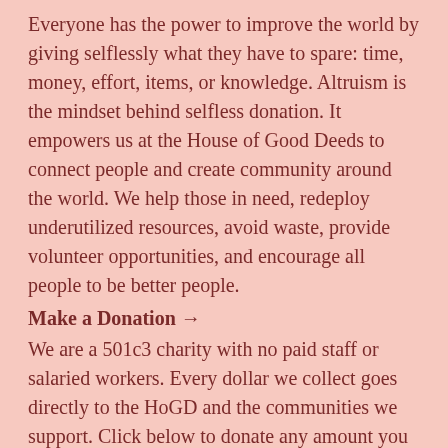Everyone has the power to improve the world by giving selflessly what they have to spare: time, money, effort, items, or knowledge. Altruism is the mindset behind selfless donation. It empowers us at the House of Good Deeds to connect people and create community around the world. We help those in need, redeploy underutilized resources, avoid waste, provide volunteer opportunities, and encourage all people to be better people.
Make a Donation →
We are a 501c3 charity with no paid staff or salaried workers. Every dollar we collect goes directly to the HoGD and the communities we support. Click below to donate any amount you like, and take a full tax exemption. Ask whether your company will match it!